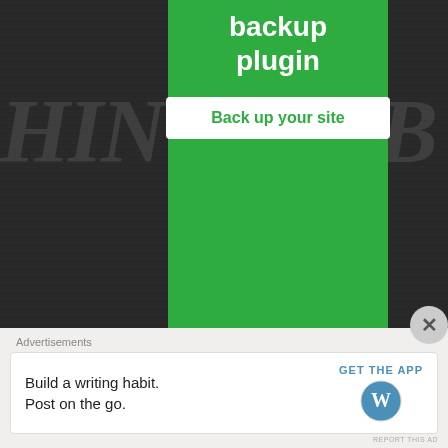[Figure (screenshot): Green advertisement popup overlaying dark website background. Shows 'backup plugin' text with white 'Back up your site' button. Background has large italic watermark text 'HIN' and 'IE B' visible.]
RECENT POSTS
In Memoriam: Al Jackson
Pastime Portraiture: Freddie Lindstrom
Bronx cheers for Robin Roberts
[Figure (screenshot): Bottom advertisement bar with 'Advertisements' label. White box with text 'Build a writing habit. Post on the go.' and 'GET THE APP' call to action with WordPress logo.]